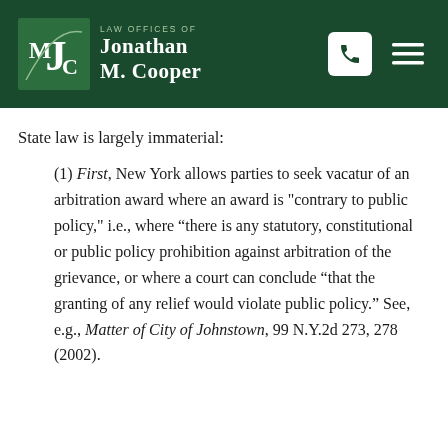Law Offices of Jonathan M. Cooper
State law is largely immaterial:
(1) First, New York allows parties to seek vacatur of an arbitration award where an award is "contrary to public policy," i.e., where “there is any statutory, constitutional or public policy prohibition against arbitration of the grievance, or where a court can conclude “that the granting of any relief would violate public policy.” See, e.g., Matter of City of Johnstown, 99 N.Y.2d 273, 278 (2002).